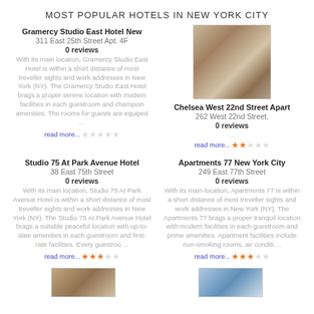MOST POPULAR HOTELS IN NEW YORK CITY
[Figure (photo): Hotel room interior photo for Chelsea West 22nd Street Apart]
Gramercy Studio East Hotel New
311 East 25th Street Apt. 4F
0 reviews
With its main location, Gramercy Studio East Hotel is within a short distance of most treveller sights and work addresses in New York (NY). The Gramercy Studio East Hotel brags a proper serene location with modern facilities in each guestroom and champion amenities. The rooms for guests are equiped ...
read more...
Chelsea West 22nd Street Apart
262 West 22nd Street,
0 reviews
...
read more...
Studio 75 At Park Avenue Hotel
38 East 75th Street
0 reviews
With its main location, Studio 75 At Park Avenue Hotel is within a short distance of most treveller sights and work addresses in New York (NY). The Studio 75 At Park Avenue Hotel brags a suitable peaceful location with up-to-date amenities in each guestroom and first-rate facilities. Every guestroo ...
read more...
Apartments 77 New York City
249 East 77th Street
0 reviews
With its main location, Apartments 77 is within a short distance of most treveller sights and work addresses in New York (NY). The Apartments 77 brags a proper tranquil location with modern facilities in each guestroom and prime amenities. Apartment facilities include non-smoking rooms, air conditi ...
read more...
[Figure (photo): Hotel exterior/interior photo bottom left]
[Figure (photo): Hotel exterior photo bottom right]